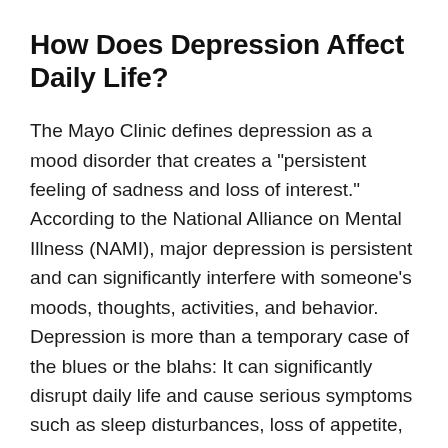How Does Depression Affect Daily Life?
The Mayo Clinic defines depression as a mood disorder that creates a "persistent feeling of sadness and loss of interest." According to the National Alliance on Mental Illness (NAMI), major depression is persistent and can significantly interfere with someone's moods, thoughts, activities, and behavior. Depression is more than a temporary case of the blues or the blahs: It can significantly disrupt daily life and cause serious symptoms such as sleep disturbances, loss of appetite, feelings of hopelessness and despair, suicidal thoughts, trouble with thinking, concentration, and memory, lack of energy, and loss of interest in normal activities, from